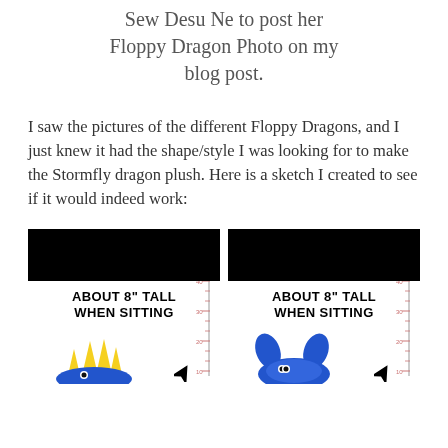Sew Desu Ne to post her Floppy Dragon Photo on my blog post.
I saw the pictures of the different Floppy Dragons, and I just knew it had the shape/style I was looking for to make the Stormfly dragon plush. Here is a sketch I created to see if it would indeed work:
[Figure (illustration): Two side-by-side sketch images of Floppy Dragon plush designs. Each has a black bar at the top (redacted/blacked out). Left image shows a yellow dragon with spiky yellow head pieces labeled 'ABOUT 8" TALL WHEN SITTING'. Right image shows a blue dragon with blue ears also labeled 'ABOUT 8" TALL WHEN SITTING'. Both images have measurement rulers on the right side.]